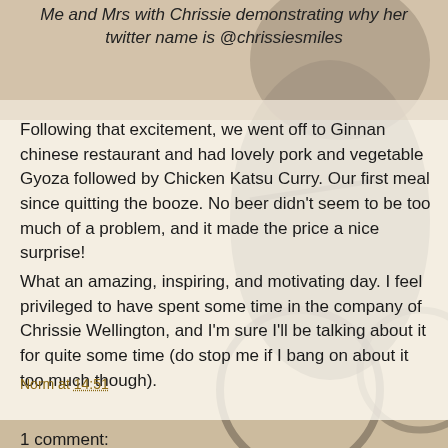[Figure (photo): Sepia-toned background photo of a person on a bicycle, with overlay content]
Me and Mrs with Chrissie demonstrating why her twitter name is @chrissiesmiles
Following that excitement, we went off to Ginnan chinese restaurant and had lovely pork and vegetable Gyoza followed by Chicken Katsu Curry. Our first meal since quitting the booze. No beer didn't seem to be too much of a problem, and it made the price a nice surprise!
What an amazing, inspiring, and motivating day. I feel privileged to have spent some time in the company of Chrissie Wellington, and I'm sure I'll be talking about it for quite some time (do stop me if I bang on about it too much though).
Oh, and me and Mrs are off to meet the Brownlees on Friday, but I'll tell you all about that at the weekend.
Norm at 14:51
Share
1 comment: